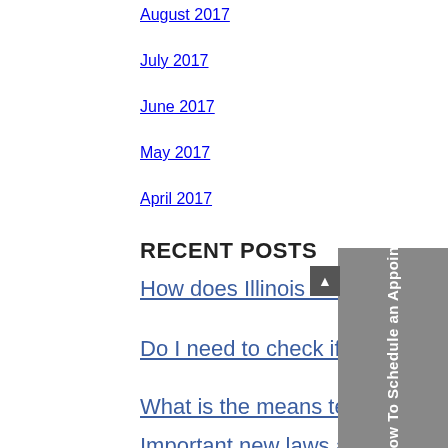August 2017
July 2017
June 2017
May 2017
April 2017
RECENT POSTS
How does Illinois divide property during a divorce?
Do I need to check if my medical debt has been eliminated?
What is the means test under Chapter 7?
Important new laws about creditor